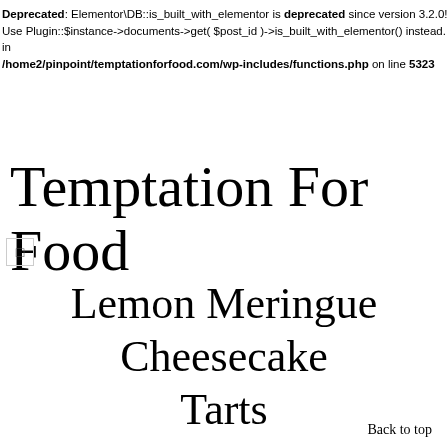Deprecated: Elementor\DB::is_built_with_elementor is deprecated since version 3.2.0! Use Plugin::$instance->documents->get( $post_id )->is_built_with_elementor() instead. in /home2/pinpoint/temptationforfood.com/wp-includes/functions.php on line 5323
Temptation For Food
[Figure (other): Small icon/symbol box (unicode square character)]
Lemon Meringue Cheesecake Tarts
Back to top